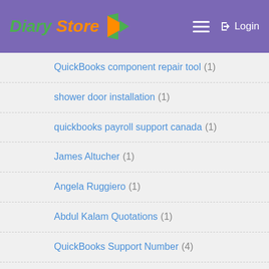Diary Store — Login
QuickBooks component repair tool (1)
shower door installation (1)
quickbooks payroll support canada (1)
James Altucher (1)
Angela Ruggiero (1)
Abdul Kalam Quotations (1)
QuickBooks Support Number (4)
QuickBooks Error 4 (1)
error 61 in QuickBooks (1)
#quickbooks license issues (2)
auditing companies in dubai (1)
wedding photography in lucknow (1)